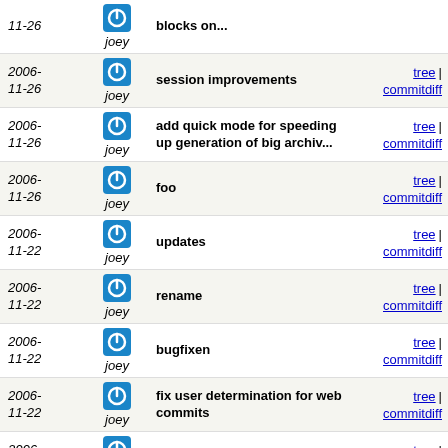2006-11-26 joey | blocks on...
2006-11-26 joey | session improvements | tree | commitdiff
2006-11-26 joey | add quick mode for speeding up generation of big archiv... | tree | commitdiff
2006-11-26 joey | foo | tree | commitdiff
2006-11-22 joey | updates | tree | commitdiff
2006-11-22 joey | rename | tree | commitdiff
2006-11-22 joey | bugfixen | tree | commitdiff
2006-11-22 joey | fix user determination for web commits | tree | commitdiff
2006-11-22 joey | * Add toggle plugin. | tree | commitdiff
2006-11-21 joey | improve | tree | commitdiff
2006-11-21 joey | * Add a test suite for the mercurial backend, contribut... | tree | commitdiff
2006-11-21 joey | better subjects | tree | commitdiff
2006-11-21 joey | improve regexp | tree | commitdiff
2006-11-21 joey | formatting | tree | commitdiff